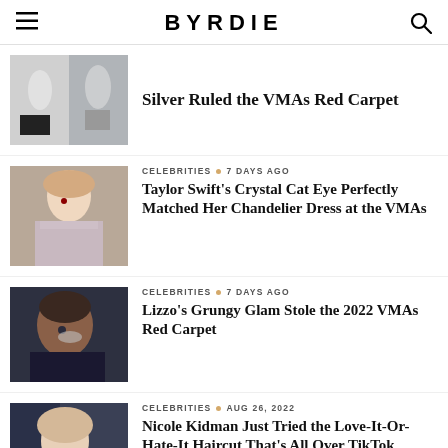BYRDIE
Silver Ruled the VMAs Red Carpet
CELEBRITIES · 7 DAYS AGO — Taylor Swift's Crystal Cat Eye Perfectly Matched Her Chandelier Dress at the VMAs
CELEBRITIES · 7 DAYS AGO — Lizzo's Grungy Glam Stole the 2022 VMAs Red Carpet
CELEBRITIES · AUG 26, 2022 — Nicole Kidman Just Tried the Love-It-Or-Hate-It Haircut That's All Over TikTok